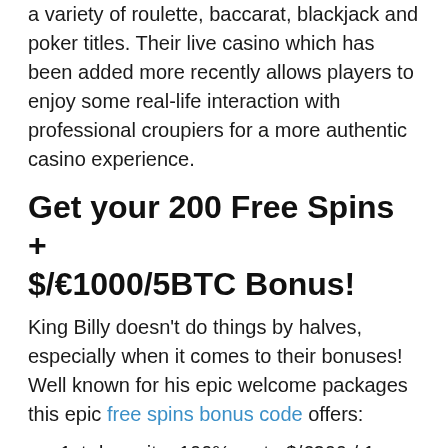a variety of roulette, baccarat, blackjack and poker titles. Their live casino which has been added more recently allows players to enjoy some real-life interaction with professional croupiers for a more authentic casino experience.
Get your 200 Free Spins + $/€1000/5BTC Bonus!
King Billy doesn't do things by halves, especially when it comes to their bonuses! Well known for his epic welcome packages this epic free spins bonus code offers:
1st deposit – 100% up to $/€200 / 1 BTC + 200 free spins
2nd deposit – 50% up to $/€200 / 1